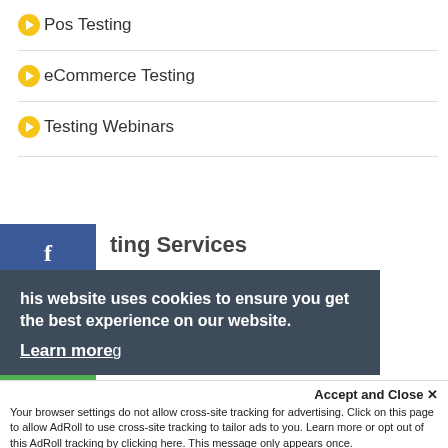Pos Testing
eCommerce Testing
Testing Webinars
Testing Services
Test Consulting
Quality Engineering
DevOps Continuous Testing
Test Automation
Cloud Testing
This website uses cookies to ensure you get the best experience on our website.
Learn more
Accept and Close ✕
Your browser settings do not allow cross-site tracking for advertising. Click on this page to allow AdRoll to use cross-site tracking to tailor ads to you. Learn more or opt out of this AdRoll tracking by clicking here. This message only appears once.